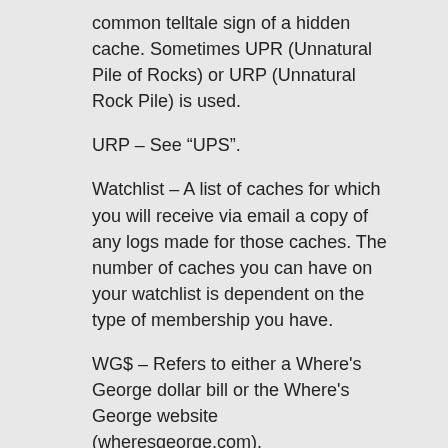common telltale sign of a hidden cache. Sometimes UPR (Unnatural Pile of Rocks) or URP (Unnatural Rock Pile) is used.
URP – See “UPS”.
Watchlist – A list of caches for which you will receive via email a copy of any logs made for those caches. The number of caches you can have on your watchlist is dependent on the type of membership you have.
WG$ – Refers to either a Where's George dollar bill or the Where's George website (wheresgeorge.com).